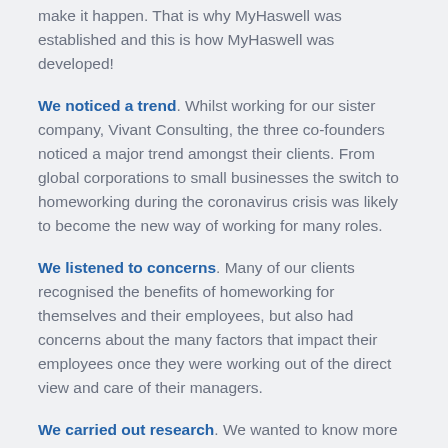make it happen. That is why MyHaswell was established and this is how MyHaswell was developed!
We noticed a trend. Whilst working for our sister company, Vivant Consulting, the three co-founders noticed a major trend amongst their clients. From global corporations to small businesses the switch to homeworking during the coronavirus crisis was likely to become the new way of working for many roles.
We listened to concerns. Many of our clients recognised the benefits of homeworking for themselves and their employees, but also had concerns about the many factors that impact their employees once they were working out of the direct view and care of their managers.
We carried out research. We wanted to know more